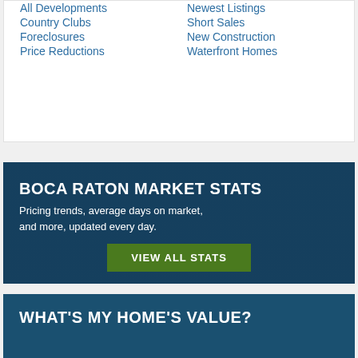All Developments
Newest Listings
Country Clubs
Short Sales
Foreclosures
New Construction
Price Reductions
Waterfront Homes
BOCA RATON MARKET STATS
Pricing trends, average days on market, and more, updated every day.
VIEW ALL STATS
WHAT'S MY HOME'S VALUE?